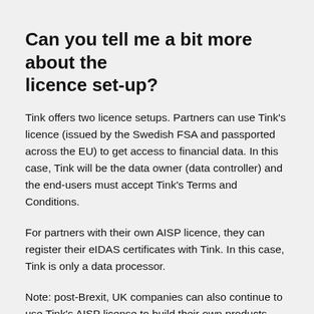Can you tell me a bit more about the licence set-up?
Tink offers two licence setups. Partners can use Tink's licence (issued by the Swedish FSA and passported across the EU) to get access to financial data. In this case, Tink will be the data owner (data controller) and the end-users must accept Tink's Terms and Conditions.
For partners with their own AISP licence, they can register their eIDAS certificates with Tink. In this case, Tink is only a data processor.
Note: post-Brexit, UK companies can also continue to use Tink's AISP license to build their own products.